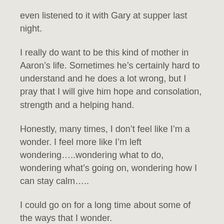even listened to it with Gary at supper last night.
I really do want to be this kind of mother in Aaron’s life. Sometimes he’s certainly hard to understand and he does a lot wrong, but I pray that I will give him hope and consolation, strength and a helping hand.
Honestly, many times, I don’t feel like I’m a wonder. I feel more like I’m left wondering…..wondering what to do, wondering what’s going on, wondering how I can stay calm…..
I could go on for a long time about some of the ways that I wonder.
But Aaron needs me to be there for him despite the